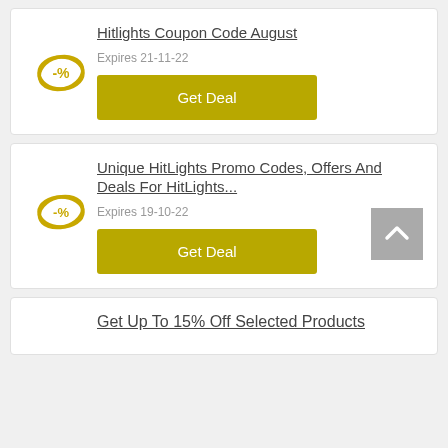Hitlights Coupon Code August
Expires 21-11-22
Get Deal
Unique HitLights Promo Codes, Offers And Deals For HitLights...
Expires 19-10-22
Get Deal
Get Up To 15% Off Selected Products